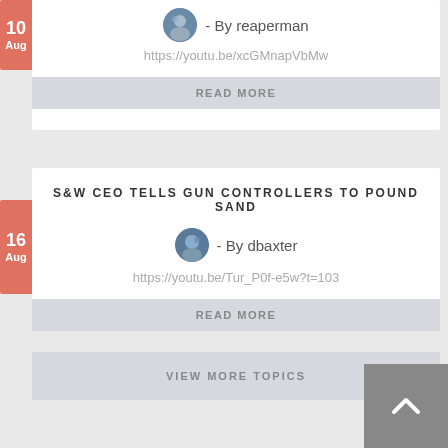- By reaperman
https://youtu.be/xcGMnapVbMw
READ MORE
S&W CEO TELLS GUN CONTROLLERS TO POUND SAND
- By dbaxter
https://youtu.be/Tur_P0f-e5w?t=103
READ MORE
VIEW MORE TOPICS